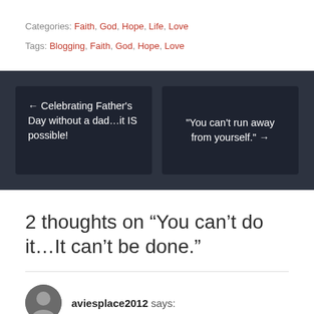Categories: Faith, God, Hope, Life, Love
Tags: Blogging, Faith, God, Hope, Love
← Celebrating Father's Day without a dad…it IS possible!
"You can't run away from yourself." →
2 thoughts on "“You can’t do it…It can’t be done.”"
aviesplace2012 says: